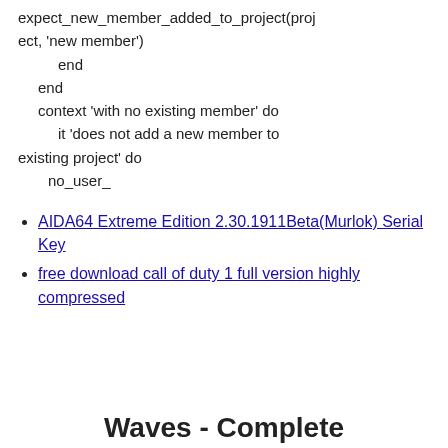expect_new_member_added_to_project(project, 'new member')
      end
    end
    context 'with no existing member' do
      it 'does not add a new member to existing project' do
        no_user_
AIDA64 Extreme Edition 2.30.1911Beta(Murlok) Serial Key
free download call of duty 1 full version highly compressed
Waves - Complete